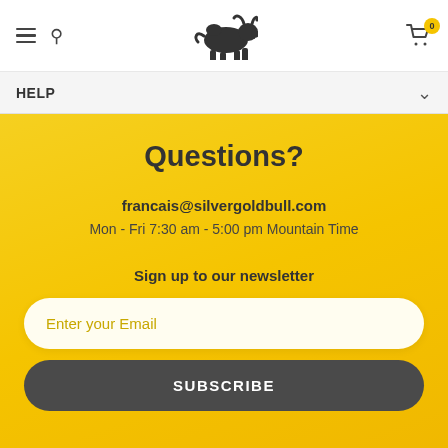[Figure (logo): Black bull logo/silhouette centered in the header navigation bar]
HELP
Questions?
francais@silvergoldbull.com
Mon - Fri 7:30 am - 5:00 pm Mountain Time
Sign up to our newsletter
Enter your Email
SUBSCRIBE